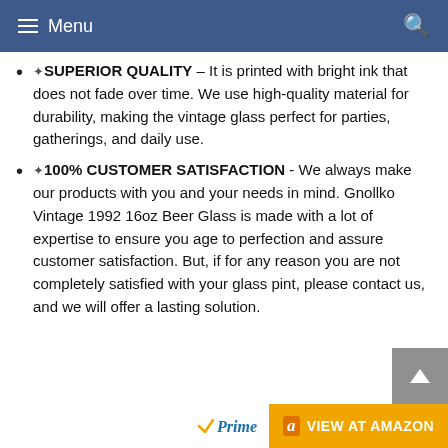Menu
✦SUPERIOR QUALITY – It is printed with bright ink that does not fade over time. We use high-quality material for durability, making the vintage glass perfect for parties, gatherings, and daily use.
✦100% CUSTOMER SATISFACTION - We always make our products with you and your needs in mind. Gnollko Vintage 1992 16oz Beer Glass is made with a lot of expertise to ensure you age to perfection and assure customer satisfaction. But, if for any reason you are not completely satisfied with your glass pint, please contact us, and we will offer a lasting solution.
[Figure (logo): Amazon Prime logo and VIEW AT AMAZON button with scroll-to-top button]